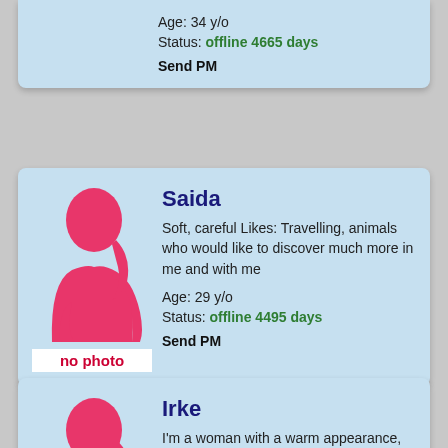Age: 34 y/o
Status: offline 4665 days
Send PM
Saida
Soft, careful Likes: Travelling, animals who would like to discover much more in me and with me
Age: 29 y/o
Status: offline 4495 days
Send PM
Irke
I'm a woman with a warm appearance, very feminine and good humour. I am a romantic,